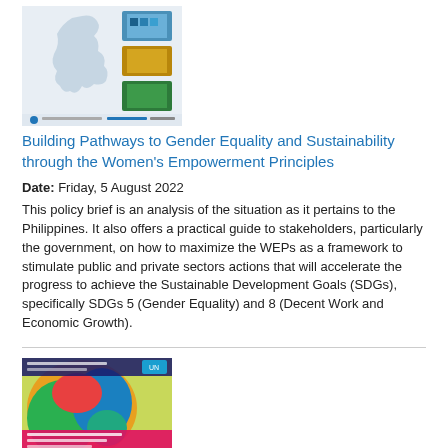[Figure (illustration): Cover image of Philippines policy brief with map and photo collage]
Building Pathways to Gender Equality and Sustainability through the Women's Empowerment Principles
Date: Friday, 5 August 2022
This policy brief is an analysis of the situation as it pertains to the Philippines. It also offers a practical guide to stakeholders, particularly the government, on how to maximize the WEPs as a framework to stimulate public and private sectors actions that will accelerate the progress to achieve the Sustainable Development Goals (SDGs), specifically SDGs 5 (Gender Equality) and 8 (Decent Work and Economic Growth).
[Figure (illustration): Cover image of Myanmar report with colorful abstract map design and text]
Regressing Gender Equality in Myanmar: Women living under the